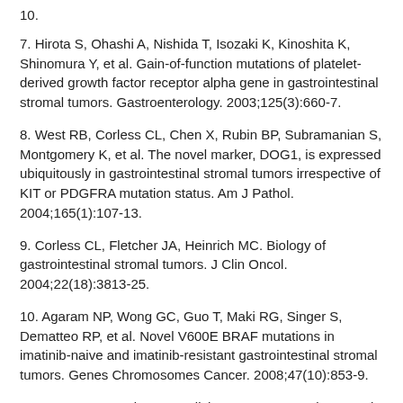10.
7. Hirota S, Ohashi A, Nishida T, Isozaki K, Kinoshita K, Shinomura Y, et al. Gain-of-function mutations of platelet-derived growth factor receptor alpha gene in gastrointestinal stromal tumors. Gastroenterology. 2003;125(3):660-7.
8. West RB, Corless CL, Chen X, Rubin BP, Subramanian S, Montgomery K, et al. The novel marker, DOG1, is expressed ubiquitously in gastrointestinal stromal tumors irrespective of KIT or PDGFRA mutation status. Am J Pathol. 2004;165(1):107-13.
9. Corless CL, Fletcher JA, Heinrich MC. Biology of gastrointestinal stromal tumors. J Clin Oncol. 2004;22(18):3813-25.
10. Agaram NP, Wong GC, Guo T, Maki RG, Singer S, Dematteo RP, et al. Novel V600E BRAF mutations in imatinib-naive and imatinib-resistant gastrointestinal stromal tumors. Genes Chromosomes Cancer. 2008;47(10):853-9.
11. Janeway KA, Kim SY, Lodish M, Nose V, Rustin P, Gaal J, et al. Defects in succinate dehydrogenase in gastrointestinal